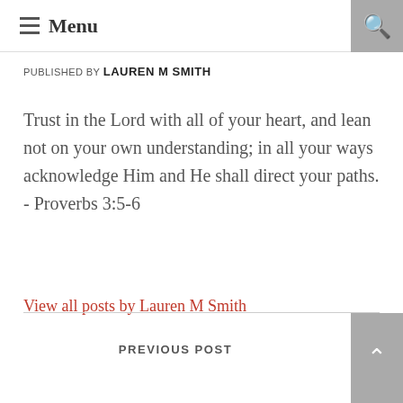Menu
PUBLISHED BY LAUREN M SMITH
Trust in the Lord with all of your heart, and lean not on your own understanding; in all your ways acknowledge Him and He shall direct your paths. - Proverbs 3:5-6
View all posts by Lauren M Smith
PREVIOUS POST